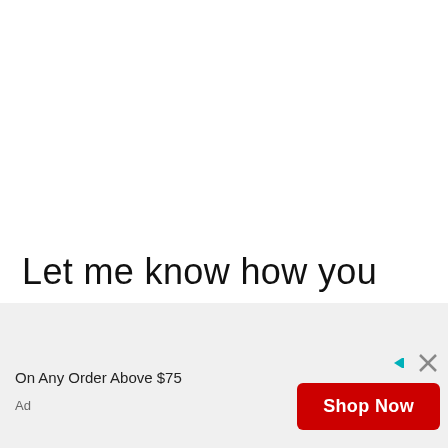Let me know how you like these Philly cheesesteak stuffed peppers!
[Figure (other): Advertisement banner with text 'On Any Order Above $75', a red 'Shop Now' button, ad attribution icons, and 'Ad' label]